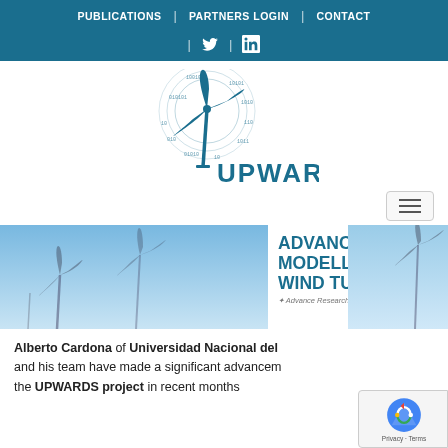PUBLICATIONS | PARTNERS LOGIN | CONTACT
[Figure (logo): UPWARDS project logo: a wind turbine with circular digital rings and binary digits surrounding it, with the text UPWARDS below]
[Figure (screenshot): Hamburger menu button (three horizontal lines) in a rounded rectangle]
[Figure (photo): Background banner showing wind turbines against a blue sky with white text overlay reading ADVANCING MODELLING OF WIND TURBINES]
ADVANCING MODELLING OF WIND TURBINES
Alberto Cardona of Universidad Nacional del and his team have made a significant advancem the UPWARDS project in recent months